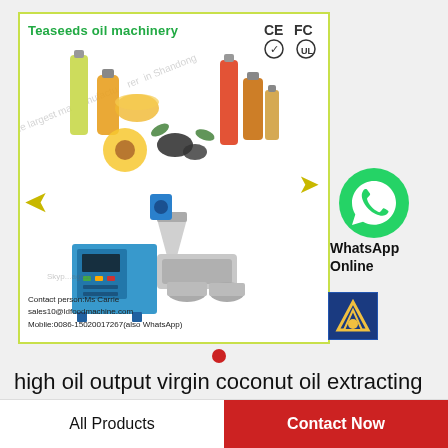[Figure (photo): Product promotional image for Teaseeds oil machinery showing oil bottles, sunflower, olives, an oil press machine with arrows, CE FC certification logos, contact info, company watermark, and WhatsApp icon with logo]
high oil output virgin coconut oil extracting machine with ISO9001,CE,BV
All Products
Contact Now